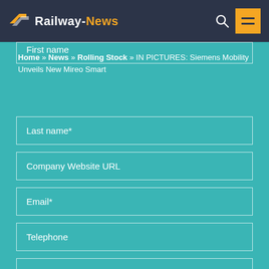Railway-News
Home » News » Rolling Stock » IN PICTURES: Siemens Mobility Unveils New Mireo Smart
First name
Last name*
Company Website URL
Email*
Telephone
Message